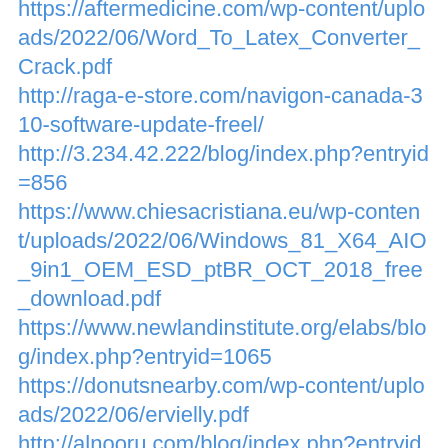https://aftermedicine.com/wp-content/uploads/2022/06/Word_To_Latex_Converter_Crack.pdf
http://raga-e-store.com/navigon-canada-310-software-update-freel/
http://3.234.42.222/blog/index.php?entryid=856
https://www.chiesacristiana.eu/wp-content/uploads/2022/06/Windows_81_X64_AIO_9in1_OEM_ESD_ptBR_OCT_2018_free_download.pdf
https://www.newlandinstitute.org/elabs/blog/index.php?entryid=1065
https://donutsnearby.com/wp-content/uploads/2022/06/ervielly.pdf
http://alnooru.com/blog/index.php?entryid=646